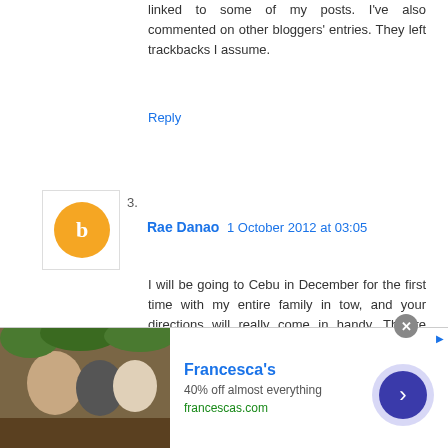linked to some of my posts. I've also commented on other bloggers' entries. They left trackbacks I assume.
Reply
3.
[Figure (illustration): Orange blogger avatar icon with white 'b' letter]
Rae Danao  1 October 2012 at 03:05
I will be going to Cebu in December for the first time with my entire family in tow, and your directions will really come in handy. They're very, very detailed. More power to you and your blog, Sir!
Reply
4.
[Figure (illustration): Orange blogger avatar icon]
[Figure (photo): Francesca's advertisement banner showing women at outdoor gathering]
Francesca's
40% off almost everything
francescas.com